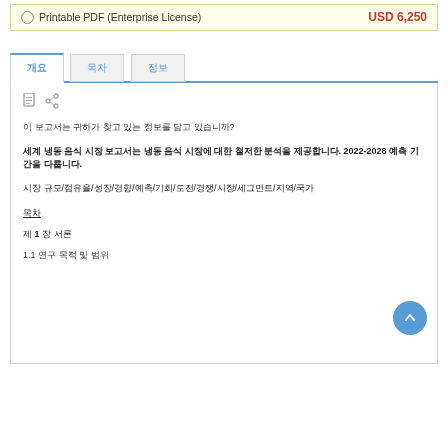Printable PDF (Enterprise License)   USD 6,250
개요  목차  정보
[Figure (other): Document icon and share icon]
이 보고서는 귀하가 찾고 있는 정보를 담고 있습니까?
세계 냉동 음식 시장 보고서는 냉동 음식 시장에 대한 철저한 분석을 제공합니다. 2022-2028 예측 기간을 다룹니다.
시장 규모/점유율/성장/경향/예측/기회/도전/경쟁/시장/세그먼트/지역/국가
목차
제 1 장 서론
1.1 연구 목적 및 범위